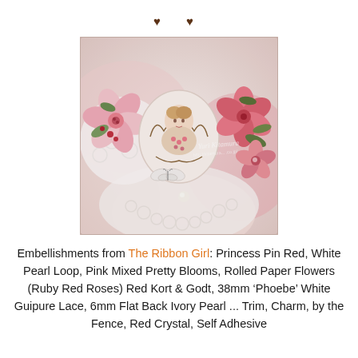[Figure (photo): Close-up craft/scrapbook photo showing pink flowers, white lace doily, butterflies, red flowers, and a vintage girl illustration with decorative scrollwork. Watermark reads 'Yuri Kitamura'.]
Embellishments from The Ribbon Girl: Princess Pin Red, White Pearl Loop, Pink Mixed Pretty Blooms, Rolled Paper Flowers (Ruby Red Roses) Red Kort & Godt, 38mm 'Phoebe' White Guipure Lace, 6mm Flat Back Ivory Pearl ... Trim, Charm, by the Fence, Red Crystal, Self Adhesive ...